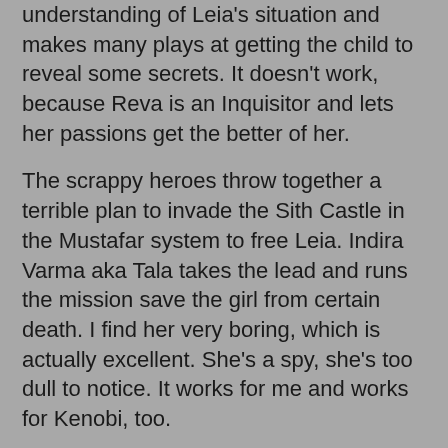understanding of Leia's situation and makes many plays at getting the child to reveal some secrets. It doesn't work, because Reva is an Inquisitor and lets her passions get the better of her.
The scrappy heroes throw together a terrible plan to invade the Sith Castle in the Mustafar system to free Leia. Indira Varma aka Tala takes the lead and runs the mission save the girl from certain death. I find her very boring, which is actually excellent. She's a spy, she's too dull to notice. It works for me and works for Kenobi, too.
Much of the rescue involves a series of callbacks to other shows and movies. From the prequels, we get a water world and a tiny breathing mouthpiece. I mentioned the Bacca Tank already, it was used to creepy good effect. Ben tricks stormtroopers with imaginary noises while Tala leaves her communicator on a table like C3PO. My favorite is Ben savaging two stormtroopers like Ahsoka Tano did in the Mandolorian. Snowspeeders make a comeback.
While I found this episode to be lackluster, the real star is